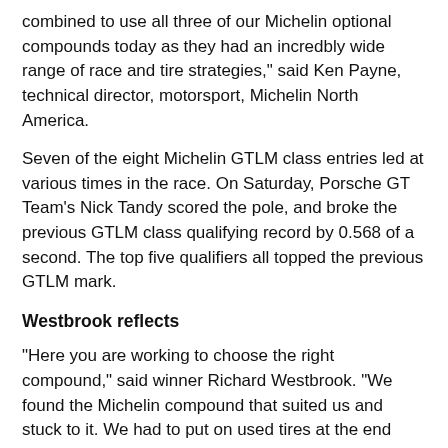combined to use all three of our Michelin optional compounds today as they had an incredbly wide range of race and tire strategies," said Ken Payne, technical director, motorsport, Michelin North America.
Seven of the eight Michelin GTLM class entries led at various times in the race. On Saturday, Porsche GT Team's Nick Tandy scored the pole, and broke the previous GTLM class qualifying record by 0.568 of a second. The top five qualifiers all topped the previous GTLM mark.
Westbrook reflects
"Here you are working to choose the right compound," said winner Richard Westbrook. "We found the Michelin compound that suited us and stuck to it. We had to put on used tires at the end because the of way the yellows fell. But we're delighted the Michelin tires held on. It is tough on the car, tough on the tires around here, and they held up for us."
CTMP character remains intact